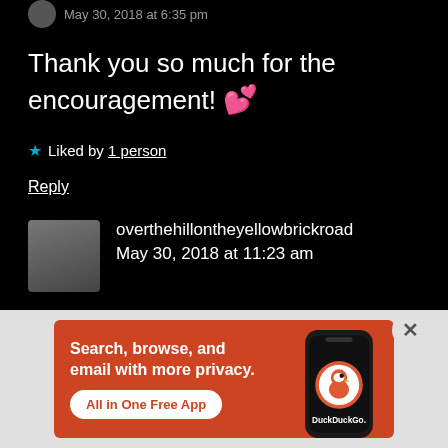May 30, 2018 at 6:35 pm
Thank you so much for the encouragement! 💕
★ Liked by 1 person
Reply
overthehillontheyellowbrickroad
May 30, 2018 at 11:23 am
[Figure (infographic): DuckDuckGo advertisement banner with orange background. Text: 'Search, browse, and email with more privacy. All in One Free App'. Shows a phone with DuckDuckGo logo and branding.]